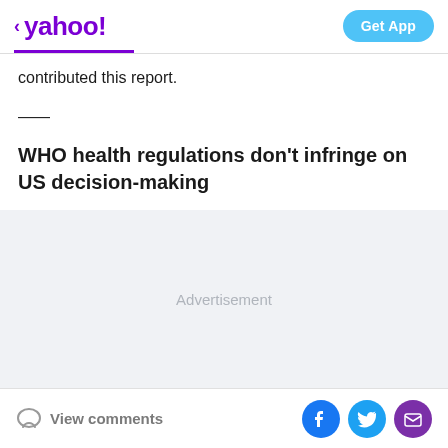yahoo! Get App
contributed this report.
—
WHO health regulations don't infringe on US decision-making
[Figure (other): Advertisement placeholder block with light gray background]
View comments